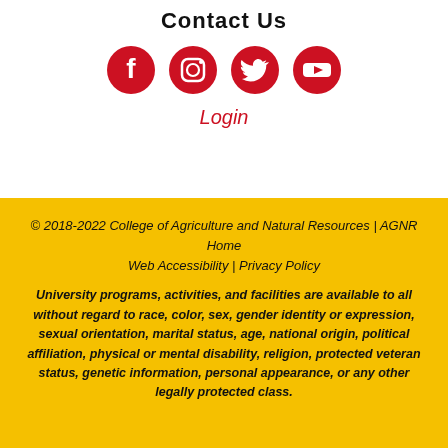Contact Us
[Figure (illustration): Four red circular social media icons: Facebook, Instagram, Twitter, YouTube]
Login
© 2018-2022 College of Agriculture and Natural Resources | AGNR Home
Web Accessibility | Privacy Policy
University programs, activities, and facilities are available to all without regard to race, color, sex, gender identity or expression, sexual orientation, marital status, age, national origin, political affiliation, physical or mental disability, religion, protected veteran status, genetic information, personal appearance, or any other legally protected class.